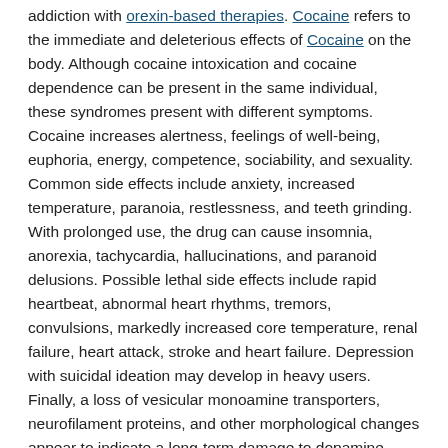addiction with orexin-based therapies. Cocaine refers to the immediate and deleterious effects of Cocaine on the body. Although cocaine intoxication and cocaine dependence can be present in the same individual, these syndromes present with different symptoms. Cocaine increases alertness, feelings of well-being, euphoria, energy, competence, sociability, and sexuality. Common side effects include anxiety, increased temperature, paranoia, restlessness, and teeth grinding. With prolonged use, the drug can cause insomnia, anorexia, tachycardia, hallucinations, and paranoid delusions. Possible lethal side effects include rapid heartbeat, abnormal heart rhythms, tremors, convulsions, markedly increased core temperature, renal failure, heart attack, stroke and heart failure. Depression with suicidal ideation may develop in heavy users. Finally, a loss of vesicular monoamine transporters, neurofilament proteins, and other morphological changes appear to indicate a long-term damage to dopamine neurons. Chronic intranasal usage can degrade the cartilage separating the nostrils (the septum nasi), which can eventually lead to its complete disappearance.
New Molecule Stops Drug Cravings in mice, with fewer side